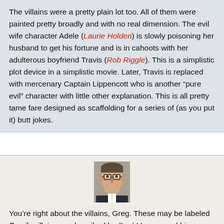The villains were a pretty plain lot too. All of them were painted pretty broadly and with no real dimension. The evil wife character Adele (Laurie Holden) is slowly poisoning her husband to get his fortune and is in cahoots with her adulterous boyfriend Travis (Rob Riggle). This is a simplistic plot device in a simplistic movie. Later, Travis is replaced with mercenary Captain Lippencott who is another “pure evil” character with little other explanation. This is all pretty tame fare designed as scaffolding for a series of (as you put it) butt jokes.
[Figure (photo): Headshot of a man wearing glasses, smiling, with short hair, wearing a dark jacket.]
You’re right about the villains, Greg. These may be labeled Family villains, as described by Paul Moxnes and his